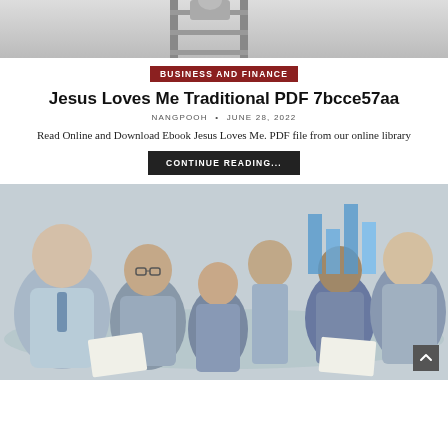[Figure (photo): Partial photo of person on a ladder, cropped at top of page]
BUSINESS AND FINANCE
Jesus Loves Me Traditional PDF 7bcce57aa
NANGPOOH  •  JUNE 28, 2022
Read Online and Download Ebook Jesus Loves Me. PDF file from our online library
CONTINUE READING...
[Figure (photo): Business meeting photo: group of professionals sitting around a glass table, one person standing and presenting, bar chart visible in background]